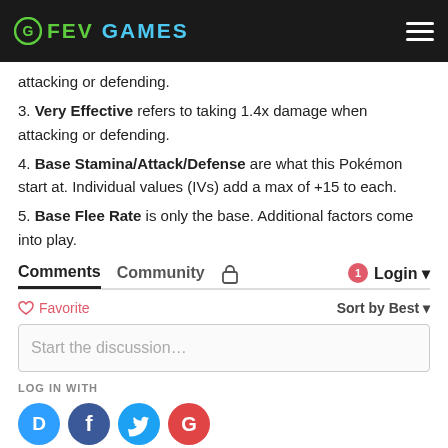FEV GAMES
attacking or defending.
3. Very Effective refers to taking 1.4x damage when attacking or defending.
4. Base Stamina/Attack/Defense are what this Pokémon start at. Individual values (IVs) add a max of +15 to each.
5. Base Flee Rate is only the base. Additional factors come into play.
Comments  Community  Login
Favorite  Sort by Best
Start the discussion…
LOG IN WITH